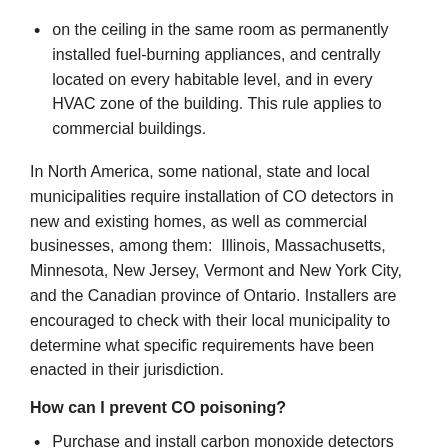on the ceiling in the same room as permanently installed fuel-burning appliances, and centrally located on every habitable level, and in every HVAC zone of the building. This rule applies to commercial buildings.
In North America, some national, state and local municipalities require installation of CO detectors in new and existing homes, as well as commercial businesses, among them:  Illinois, Massachusetts, Minnesota, New Jersey, Vermont and New York City, and the Canadian province of Ontario. Installers are encouraged to check with their local municipality to determine what specific requirements have been enacted in their jurisdiction.
How can I prevent CO poisoning?
Purchase and install carbon monoxide detectors